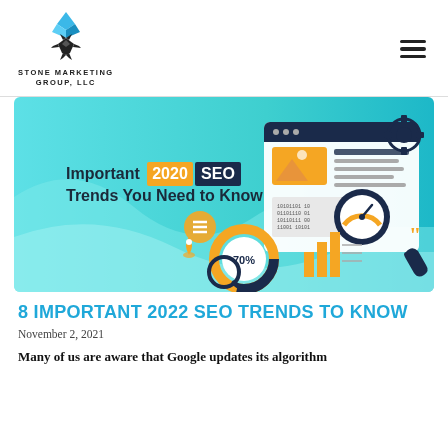[Figure (logo): Stone Marketing Group, LLC logo — a blue diamond gem above a black starburst/snowflake shape, with text STONE MARKETING GROUP, LLC below]
[Figure (infographic): Banner image for blog post: teal/cyan background with illustrated SEO analytics elements (bar charts, donut chart showing 70%, browser window mockup, gear, magnifying glass). Text overlay reads: Important 2020 SEO Trends You Need to Know]
8 IMPORTANT 2022 SEO TRENDS TO KNOW
November 2, 2021
Many of us are aware that Google updates its algorithm